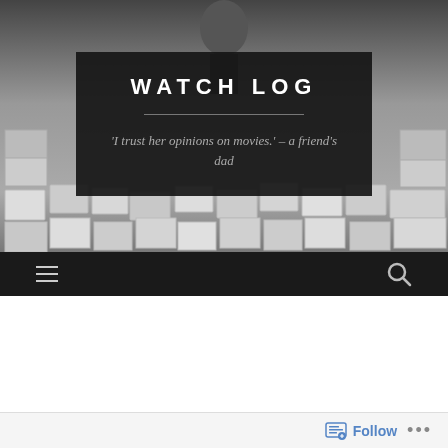[Figure (photo): Black and white photo of an outdoor space with photographs/prints laid out on a floor, and a sculptural figure visible in the background.]
WATCH LOG
'I trust her opinions on movies.' – a friend's dad
Promising Young Woman
Follow